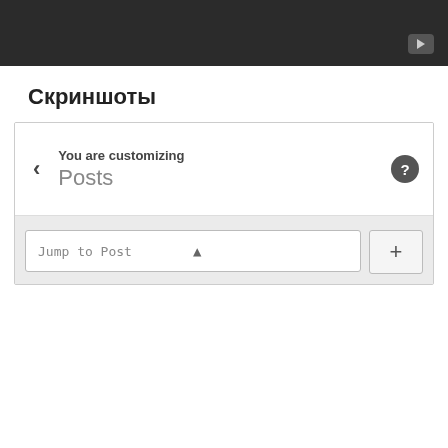[Figure (screenshot): Dark video player bar with play button icon in bottom right corner]
Скриншоты
[Figure (screenshot): WordPress customizer UI showing 'You are customizing Posts' panel with a dropdown 'Jump to Post' open, showing 'Scheduled Post' selected in blue and 'Hello World' below it]